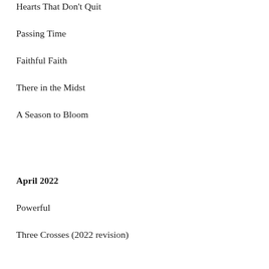Hearts That Don’t Quit
Passing Time
Faithful Faith
There in the Midst
A Season to Bloom
April 2022
Powerful
Three Crosses (2022 revision)